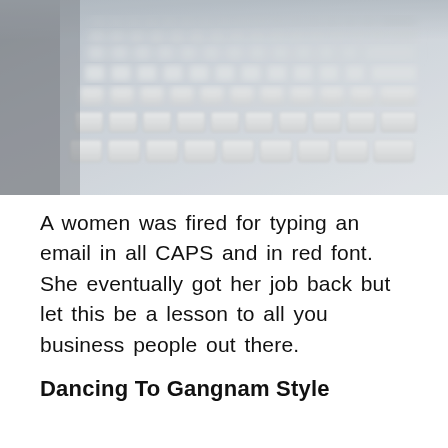[Figure (photo): Close-up photograph of a keyboard with keys slightly blurred, showing white/grey keys with a blue-grey tint, shot at an angle]
A women was fired for typing an email in all CAPS and in red font. She eventually got her job back but let this be a lesson to all you business people out there.
Dancing To Gangnam Style